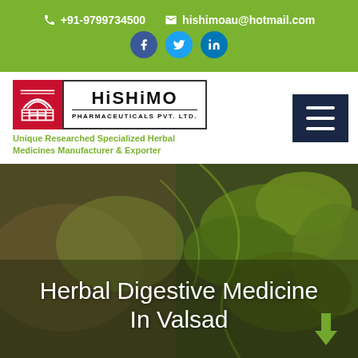📞 +91-9799734500  ✉ hishimoau@hotmail.com
[Figure (logo): Hishimo Pharmaceuticals Pvt. Ltd. logo with red square emblem and company name]
Unique Researched Specialized Herbal Medicines Manufacturer & Exporter
[Figure (photo): Hero background image of green herbal leaves on wooden surface with overlay title]
Herbal Digestive Medicine In Valsad